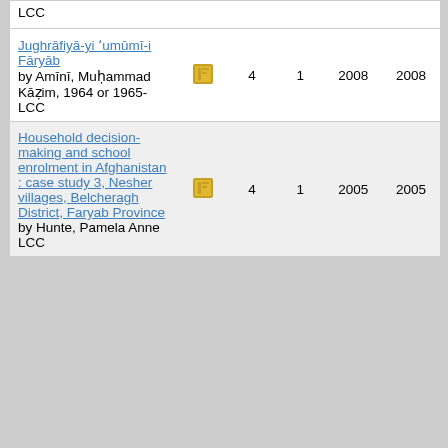| Title/Author |  |  |  | Year | Year |
| --- | --- | --- | --- | --- | --- |
| Jughrāfiyā-yi ʻumūmī-i Fāryāb
by Amīnī, Muḥammad Kāẓim, 1964 or 1965-
LCC | [icon] | 4 | 1 | 2008 | 2008 |
| Household decision-making and school enrolment in Afghanistan : case study 3, Nesher villages, Belcheragh District, Faryab Province
by Hunte, Pamela Anne
LCC | [icon] | 4 | 1 | 2005 | 2005 |